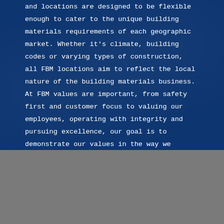and locations are designed to be flexible enough to cater to the unique building materials requirements of each geographic market. Whether it's climate, building codes or varying types of construction, all FBM locations aim to reflect the local nature of the building materials business. At FBM values are important, from safety first and customer focus to valuing our employees, operating with integrity and pursuing excellence, our goal is to demonstrate our values in the way we conduct business each and every day.
Explore
Home
Request Building Materials Quote